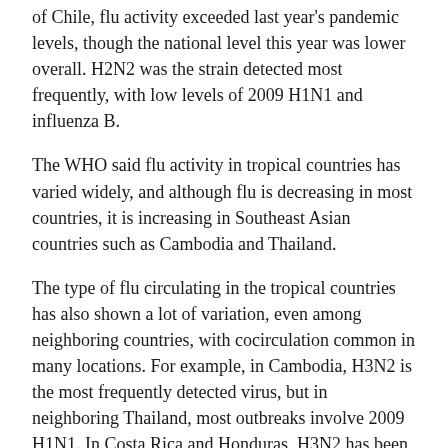of Chile, flu activity exceeded last year's pandemic levels, though the national level this year was lower overall. H2N2 was the strain detected most frequently, with low levels of 2009 H1N1 and influenza B.
The WHO said flu activity in tropical countries has varied widely, and although flu is decreasing in most countries, it is increasing in Southeast Asian countries such as Cambodia and Thailand.
The type of flu circulating in the tropical countries has also shown a lot of variation, even among neighboring countries, with cocirculation common in many locations. For example, in Cambodia, H3N2 is the most frequently detected virus, but in neighboring Thailand, most outbreaks involve 2009 H1N1. In Costa Rica and Honduras, H3N2 has been the most common virus detected, but influenza B has been dominant in Nicaragua.
China is reporting moderate H3N2 circulation, with tests showing much lower levels of influenza B activity, the WHO said. Northern China is experiencing an increase in the number of outpatient visits for flu-like illness, and Hong Kong officials